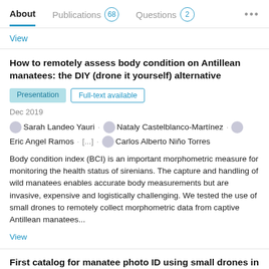About  Publications 68  Questions 2  ...
View
How to remotely assess body condition on Antillean manatees: the DIY (drone it yourself) alternative
Presentation   Full-text available
Dec 2019
Sarah Landeo Yauri · Nataly Castelblanco-Martínez · Eric Angel Ramos · [...] · Carlos Alberto Niño Torres
Body condition index (BCI) is an important morphometric measure for monitoring the health status of sirenians. The capture and handling of wild manatees enables accurate body measurements but are invasive, expensive and logistically challenging. We tested the use of small drones to remotely collect morphometric data from captive Antillean manatees...
View
First catalog for manatee photo ID using small drones in